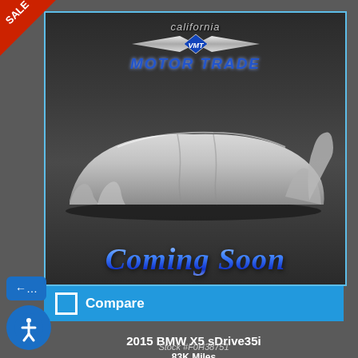[Figure (photo): Car dealership listing card for California Motor Trade showing a car covered with a white sheet on dark background with 'Coming Soon' text overlay and dealer logo at top]
SALE
Compare
2015 BMW X5 sDrive35i
Stock #F0H38751
83K Miles